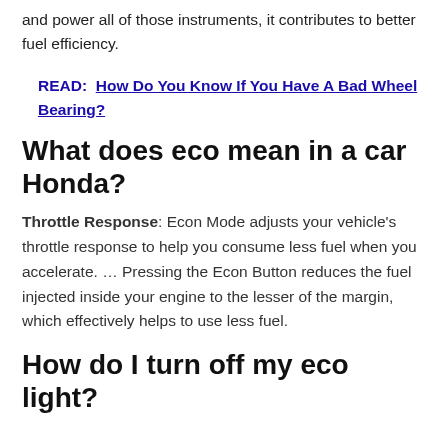and power all of those instruments, it contributes to better fuel efficiency.
READ:  How Do You Know If You Have A Bad Wheel Bearing?
What does eco mean in a car Honda?
Throttle Response: Econ Mode adjusts your vehicle's throttle response to help you consume less fuel when you accelerate. … Pressing the Econ Button reduces the fuel injected inside your engine to the lesser of the margin, which effectively helps to use less fuel.
How do I turn off my eco light?